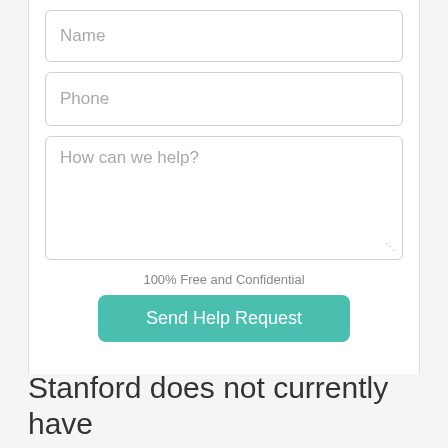Name
Phone
How can we help?
100% Free and Confidential
Send Help Request
Stanford does not currently have